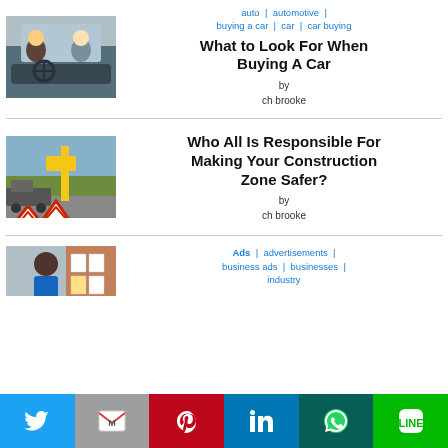auto | automotive | buying a car | car | car buying
What to Look For When Buying A Car
by
ch brooke
Who All Is Responsible For Making Your Construction Zone Safer?
by
ch brooke
Ads | advertisements | business ads | businesses | industry
[Figure (photo): Two people inside a car, viewed from outside through the windshield]
[Figure (photo): Construction zone with warning triangle signs and machinery]
[Figure (photo): Person working, partially visible at bottom of page]
[Figure (infographic): Social share bar with Twitter, Gmail, Pinterest, LinkedIn, WhatsApp, Line buttons]